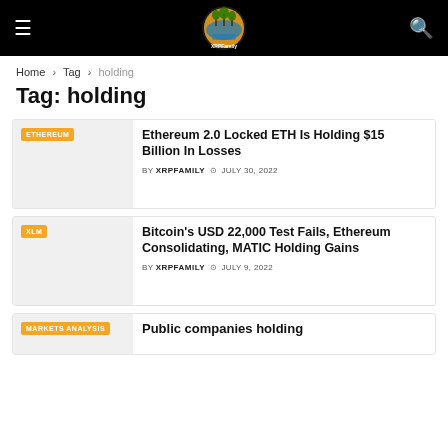XRP Family site header with navigation
Home › Tag › holding
Tag: holding
Ethereum 2.0 Locked ETH Is Holding $15 Billion In Losses — BY XRPFAMILY — JULY 30, 2022
Bitcoin's USD 22,000 Test Fails, Ethereum Consolidating, MATIC Holding Gains — BY XRPFAMILY — JULY 9, 2022
Public companies holding